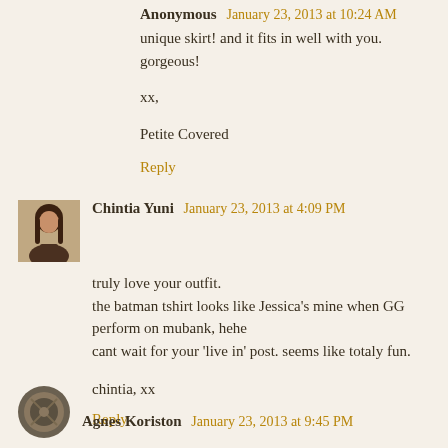Anonymous January 23, 2013 at 10:24 AM
unique skirt! and it fits in well with you. gorgeous!

xx,

Petite Covered
Reply
[Figure (photo): Small avatar photo of Chintia Yuni, a woman with long brown hair]
Chintia Yuni January 23, 2013 at 4:09 PM
truly love your outfit.
the batman tshirt looks like Jessica's mine when GG perform on mubank, hehe
cant wait for your 'live in' post. seems like totaly fun.


chintia, xx
Reply
[Figure (photo): Small circular avatar/logo for Agnes Koriston]
Agnes Koriston January 23, 2013 at 9:45 PM